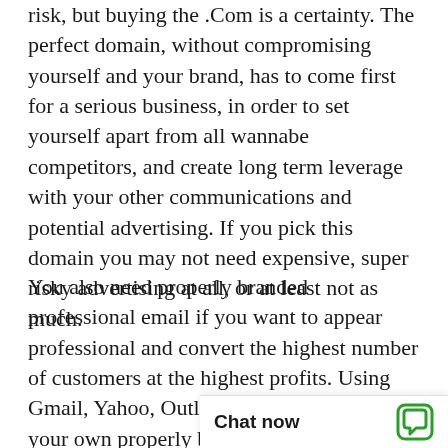risk, but buying the .Com is a certainty. The perfect domain, without compromising yourself and your brand, has to come first for a serious business, in order to set yourself apart from all wannabe competitors, and create long term leverage with your other communications and potential advertising. If you pick this domain you may not need expensive, super risky advertising at all, or at least not as much.
You also need properly branded professional email if you want to appear professional and convert the highest number of customers at the highest profits. Using Gmail, Yahoo, Outlook, AOL, instead of your own properly branded email address is foolish and unprofessional and fails to add leverage to your brand, or use the leverage from your brand, which should have been professionally built from day one. But no time like the present.